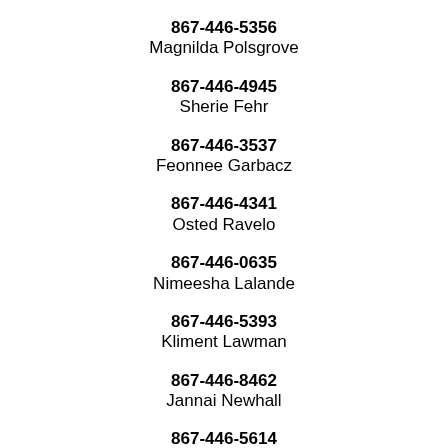867-446-5356
Magnilda Polsgrove
867-446-4945
Sherie Fehr
867-446-3537
Feonnee Garbacz
867-446-4341
Osted Ravelo
867-446-0635
Nimeesha Lalande
867-446-5393
Kliment Lawman
867-446-8462
Jannai Newhall
867-446-5614
Rina Ludke
867-446-7935